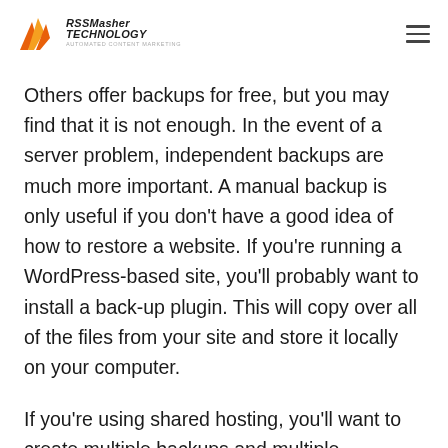RSSMasher TECHNOLOGY — AUTOMATED CONTENT MARKETING
Others offer backups for free, but you may find that it is not enough. In the event of a server problem, independent backups are much more important. A manual backup is only useful if you don't have a good idea of how to restore a website. If you're running a WordPress-based site, you'll probably want to install a back-up plugin. This will copy over all of the files from your site and store it locally on your computer.
If you're using shared hosting, you'll want to create multiple backups and multiple